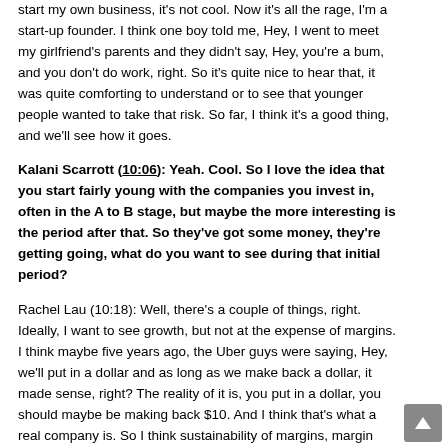start my own business, it's not cool. Now it's all the rage, I'm a start-up founder. I think one boy told me, Hey, I went to meet my girlfriend's parents and they didn't say, Hey, you're a bum, and you don't do work, right. So it's quite nice to hear that, it was quite comforting to understand or to see that younger people wanted to take that risk. So far, I think it's a good thing, and we'll see how it goes.
Kalani Scarrott (10:06): Yeah. Cool. So I love the idea that you start fairly young with the companies you invest in, often in the A to B stage, but maybe the more interesting is the period after that. So they've got some money, they're getting going, what do you want to see during that initial period?
Rachel Lau (10:18): Well, there's a couple of things, right. Ideally, I want to see growth, but not at the expense of margins. I think maybe five years ago, the Uber guys were saying, Hey, we'll put in a dollar and as long as we make back a dollar, it made sense, right? The reality of it is, you put in a dollar, you should maybe be making back $10. And I think that's what a real company is. So I think sustainability of margins, margin growth is pretty important. I think we shouldn't be burning money for burning money's sake, and we shouldn't be growing it for growings sake for it. I think you have to have quality growth.